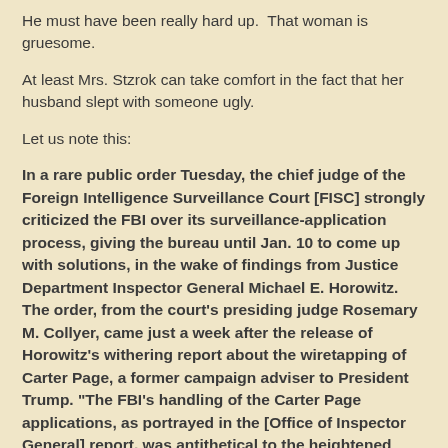He must have been really hard up.  That woman is gruesome.
At least Mrs. Stzrok can take comfort in the fact that her husband slept with someone ugly.
Let us note this:
In a rare public order Tuesday, the chief judge of the Foreign Intelligence Surveillance Court [FISC] strongly criticized the FBI over its surveillance-application process, giving the bureau until Jan. 10 to come up with solutions, in the wake of findings from Justice Department Inspector General Michael E. Horowitz. The order, from the court's presiding judge Rosemary M. Collyer, came just a week after the release of Horowitz's withering report about the wiretapping of Carter Page, a former campaign adviser to President Trump. "The FBI's handling of the Carter Page applications, as portrayed in the [Office of Inspector General] report, was antithetical to the heightened duty of candor described above," Collyer wrote in her four-page order. "The